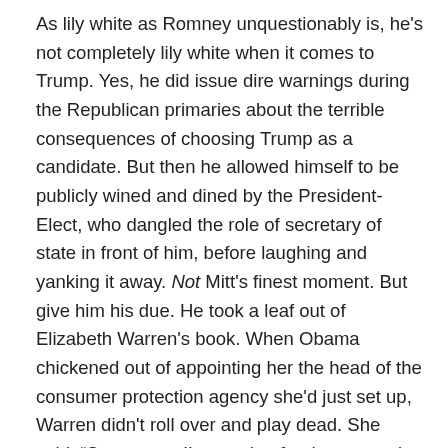As lily white as Romney unquestionably is, he's not completely lily white when it comes to Trump. Yes, he did issue dire warnings during the Republican primaries about the terrible consequences of choosing Trump as a candidate. But then he allowed himself to be publicly wined and dined by the President-Elect, who dangled the role of secretary of state in front of him, before laughing and yanking it away. Not Mitt's finest moment. But give him his due. He took a leaf out of Elizabeth Warren's book. When Obama chickened out of appointing her the head of the consumer protection agency she'd just set up, Warren didn't roll over and play dead. She said, “Screw you. I’m running for the senate in Massachusetts.” (A state where Romney, as governor, had introduced a very popular government option for health insurance, which, as the 2012 Republican candidate, he denounced as a terrible